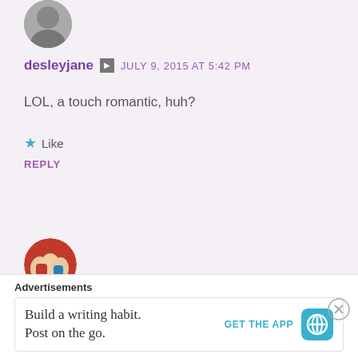[Figure (photo): Circular avatar photo of desleyjane, partially cropped at top]
desleyjane  JULY 9, 2015 AT 5:42 PM
LOL, a touch romantic, huh?
★ Like
REPLY
[Figure (photo): Circular avatar photo of Cardinal Guzman showing children]
Cardinal Guzman  JULY 9, 2015 AT 5:53 PM
Yes. Romantic isn't really the right word to use to describe my
Advertisements
Build a writing habit.
Post on the go.
GET THE APP